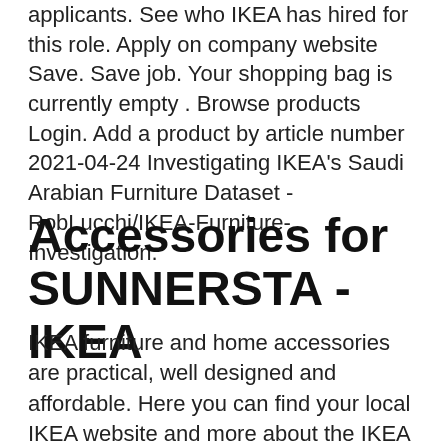applicants. See who IKEA has hired for this role. Apply on company website Save. Save job. Your shopping bag is currently empty . Browse products Login. Add a product by article number 2021-04-24 Investigating IKEA's Saudi Arabian Furniture Dataset - RobLucchi/IKEA-Furniture-Investigation.
Accessories for SUNNERSTA - IKEA
IKEA furniture and home accessories are practical, well designed and affordable. Here you can find your local IKEA website and more about the IKEA business idea. Objavte kvalitný a cenovo dostupný nábytok, doplnky a nekonečnú inšpiráciu do vysnívanej domácnosti z IKEA.